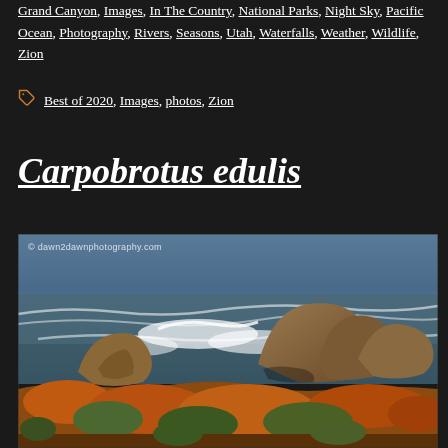Grand Canyon, Images, In The Country, National Parks, Night Sky, Pacific Ocean, Photography, Rivers, Seasons, Utah, Waterfalls, Weather, Wildlife, Zion
Tags: Best of 2020, Images, photos, Zion
Carpobrotus edulis
[Figure (photo): Coastal landscape photograph showing rocky shoreline with crashing ocean waves, orange and green ice plant (Carpobrotus edulis) in the foreground, brown rocks in the middle ground, and a stormy blue-grey sea in the background. Watermark reads: © dawn2dawnphotography.com]